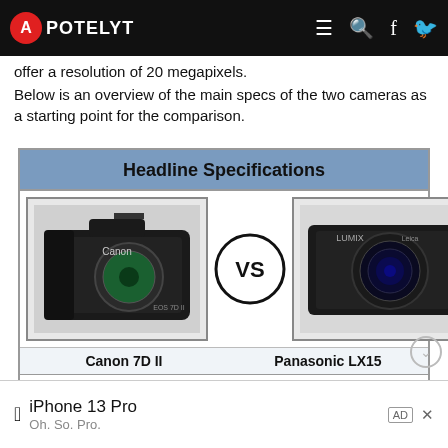APOTELYT
offer a resolution of 20 megapixels.
Below is an overview of the main specs of the two cameras as a starting point for the comparison.
| Canon 7D II | Panasonic LX15 |
| --- | --- |
| Digital single lens reflex | Fixed lens compact camera |
| Canon EF mount lenses | 24-72mm f/1.4-2.8 |
| 20 MP – APS-C sensor | 20 MP – 1" sensor |
| 1080/60p Video | 4K/30p Video |
| ISO 100-16,000 (100 - 51,200) | ISO 125-12,800 (80 - 25,600) |
[Figure (photo): Canon 7D II DSLR camera vs Panasonic LX15 compact camera comparison]
iPhone 13 Pro — Oh. So. Pro. [Advertisement]